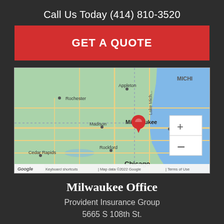Call Us Today (414) 810-3520
GET A QUOTE
[Figure (map): Google Maps screenshot showing the Midwest US region with a red location pin placed on Milwaukee, Wisconsin. Cities visible include Rochester, Appleton, Madison, Milwaukee, Rockford, Cedar Rapids, Chicago, Grand Rapids. Lake Michigan is visible on the right. Zoom controls (+/-) visible. Attribution: Map data ©2022 Google, Terms of Use.]
Milwaukee Office
Provident Insurance Group
5665 S 108th St.